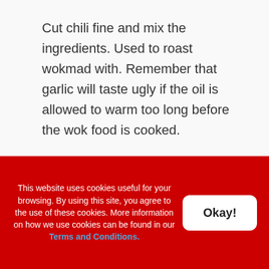Cut chili fine and mix the ingredients. Used to roast wokmad with. Remember that garlic will taste ugly if the oil is allowed to warm too long before the wok food is cooked.
Apple slices without wheat
This website uses cookies useful for your browsing. By using this site, you agree to the use of these cookies. More information on how we use cookies can be found in our Terms and Conditions.